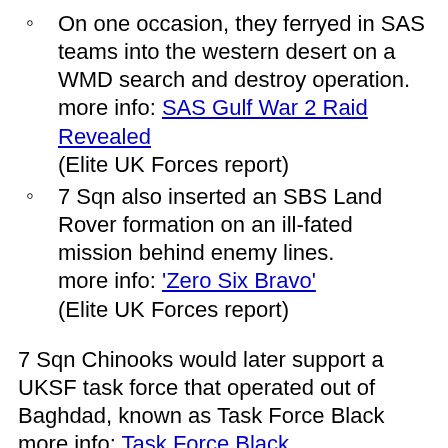On one occasion, they ferryed in SAS teams into the western desert on a WMD search and destroy operation.
more info: SAS Gulf War 2 Raid Revealed (Elite UK Forces report)
7 Sqn also inserted an SBS Land Rover formation on an ill-fated mission behind enemy lines.
more info: 'Zero Six Bravo' (Elite UK Forces report)
7 Sqn Chinooks would later support a UKSF task force that operated out of Baghdad, known as Task Force Black
more info: Task Force Black
March 2011 - Libya - 7 Sqn Chinooks were deployed in support of UKSF in Libya. One mission to covertly insert a M16/UKSf team into the country was revealed when the landing was